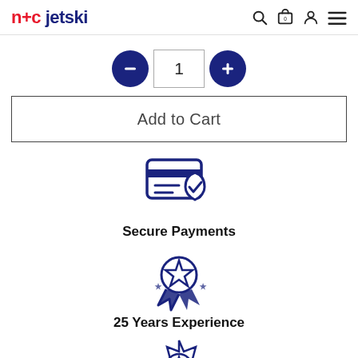n+c jetski
[Figure (screenshot): Quantity selector with minus button, input field showing 1, and plus button]
Add to Cart
[Figure (illustration): Secure payment icon: credit card with shield and checkmark]
Secure Payments
[Figure (illustration): Award medal icon with star and ribbons]
25 Years Experience
[Figure (illustration): Certificate/badge icon with star and decorative border]